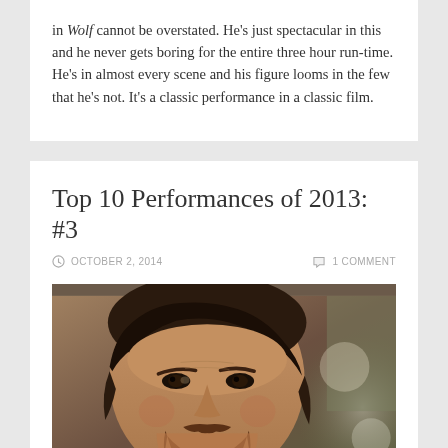in Wolf cannot be overstated. He's just spectacular in this and he never gets boring for the entire three hour run-time. He's in almost every scene and his figure looms in the few that he's not. It's a classic performance in a classic film.
Top 10 Performances of 2013: #3
OCTOBER 2, 2014 | 1 COMMENT
[Figure (photo): Close-up photograph of a bearded man with dark wavy hair, wearing a light-colored jacket, looking intently to the side. Background is blurred with soft light and green tones.]